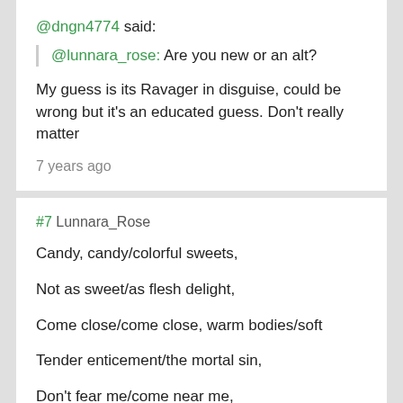@dngn4774 said:
@lunnara_rose: Are you new or an alt?
My guess is its Ravager in disguise, could be wrong but it's an educated guess. Don't really matter
7 years ago
#7 Lunnara_Rose
Candy, candy/colorful sweets,
Not as sweet/as flesh delight,
Come close/come close, warm bodies/soft
Tender enticement/the mortal sin,
Don't fear me/come near me,
My candy for yours/your price is not me,